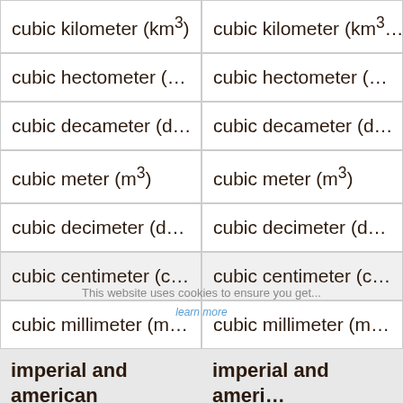| cubic kilometer (km³) | cubic kilometer (km³) |
| cubic hectometer (… | cubic hectometer (… |
| cubic decameter (d… | cubic decameter (d… |
| cubic meter (m³) | cubic meter (m³) |
| cubic decimeter (d… | cubic decimeter (d… |
| cubic centimeter (c… | cubic centimeter (c… |
| cubic millimeter (m… | cubic millimeter (m… |
imperial and american units
| cubic foot (ft³) | cubic foot (ft³) |
| cubic inch (in³) | cubic inch (in³) |
| gallon (imperial) (g… | gallon (imperial) (g… |